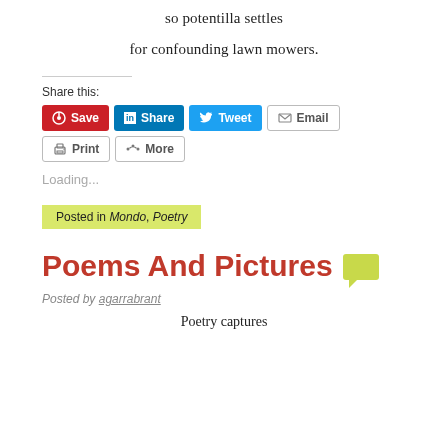so potentilla settles
for confounding lawn mowers.
Share this:
[Figure (infographic): Social share buttons: Save (Pinterest), Share (LinkedIn), Tweet (Twitter), Email, Print, More]
Loading...
Posted in Mondo, Poetry
Poems And Pictures
Posted by agarrabrant
Poetry captures